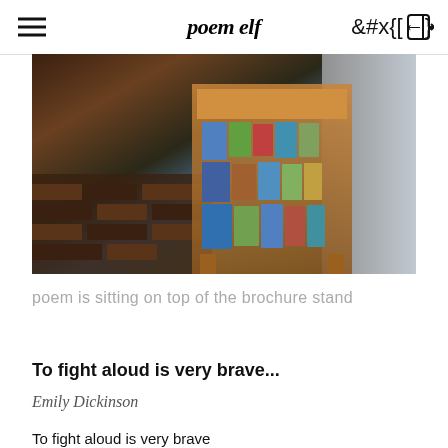poem elf
[Figure (photo): A brochure stand filled with colorful brochures and pamphlets, photographed from above at an angle, on a brick floor.]
poem is sitting on top of the brochure stand
To fight aloud is very brave...
Emily Dickinson
To fight aloud is very brave